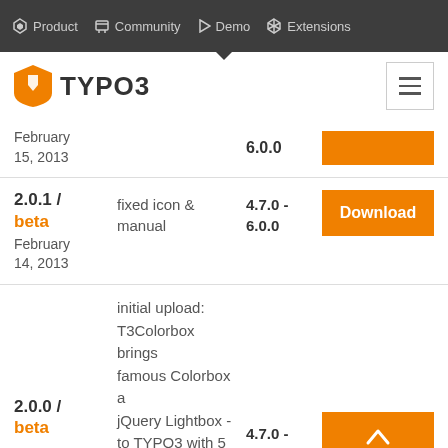Product | Community | Demo | Extensions
TYPO3
| Version | Description | Compatibility | Download |
| --- | --- | --- | --- |
| February 15, 2013 | 6.0.0 |  |  |
| 2.0.1 / beta
February 14, 2013 | fixed icon & manual | 4.7.0 - 6.0.0 | Download |
| 2.0.0 / beta | initial upload: T3Colorbox brings famous Colorbox a jQuery Lightbox - to TYPO3 with 5 different Layouts included. | 4.7.0 - | Download |